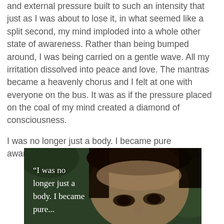and external pressure built to such an intensity that just as I was about to lose it, in what seemed like a split second, my mind imploded into a whole other state of awareness. Rather than being bumped around, I was being carried on a gentle wave. All my irritation dissolved into peace and love. The mantras became a heavenly chorus and I felt at one with everyone on the bus. It was as if the pressure placed on the coal of my mind created a diamond of consciousness.

I was no longer just a body. I became pure awareness.
[Figure (photo): Close-up photo of a young Asian girl's face with dark eyes and hair, with an overlaid quote in white handwritten-style text reading: 'I was no longer just a body. I became [pure awareness]']